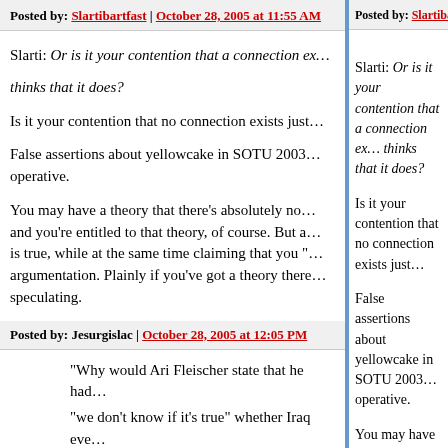Posted by: Slartibartfast | October 28, 2005 at 11:55 AM
Slarti: Or is it your contention that a connection ex... thinks that it does?
Is it your contention that no connection exists just...
False assertions about yellowcake in SOTU 2003... operative.
You may have a theory that there's absolutely no... and you're entitled to that theory, of course. But a... is true, while at the same time claiming that you "... argumentation. Plainly if you've got a theory there... speculating.
Posted by: Jesurgislac | October 28, 2005 at 12:05 PM
"Why would Ari Fleischer state that he had... "we don't know if it's true" whether Iraq eve... uranium in Africa (let alone Iraq actually pu...
Anarch if it's your contention that the WH press s... intelligence community, I'm not sure what to do w...